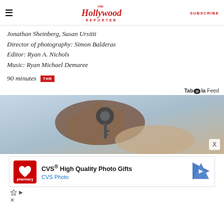The Hollywood Reporter — SUBSCRIBE
Jonathan Sheinberg, Susan Ursitti
Director of photography: Simon Balderas
Editor: Ryan A. Nichols
Music: Ryan Michael Demaree
90 minutes  THR
Taboola Feed
[Figure (photo): Close-up photograph of a hand holding car keys being handed to another person]
[Figure (screenshot): CVS pharmacy advertisement: CVS® High Quality Photo Gifts — CVS Photo, with CVS logo and navigation arrow icon]